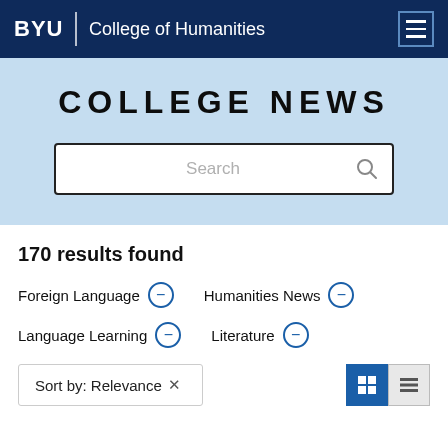BYU | College of Humanities
COLLEGE NEWS
Search
170 results found
Foreign Language ⊖
Humanities News ⊖
Language Learning ⊖
Literature ⊖
Sort by: Relevance ×